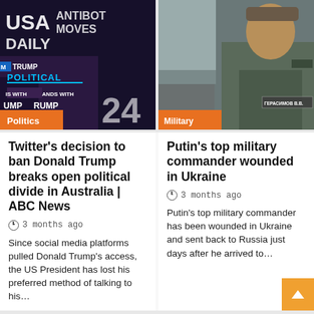[Figure (photo): News screenshot showing anti-Trump political news overlay with crowd holding Trump signs, labeled Politics with USA Daily News header]
[Figure (photo): Photo of a Russian military commander in uniform, labeled Military, with Gerasimov nameplate visible]
Twitter’s decision to ban Donald Trump breaks open political divide in Australia | ABC News
3 months ago
Since social media platforms pulled Donald Trump’s access, the US President has lost his preferred method of talking to his…
Putin’s top military commander wounded in Ukraine
3 months ago
Putin’s top military commander has been wounded in Ukraine and sent back to Russia just days after he arrived to…